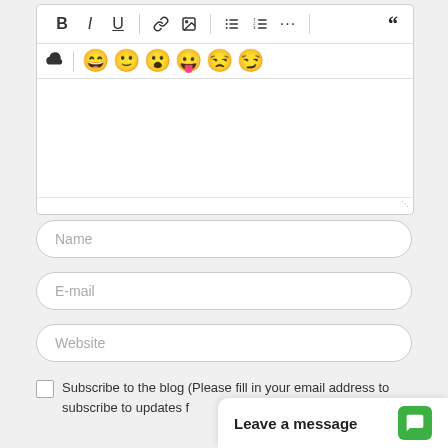[Figure (screenshot): Rich text editor toolbar with Bold, Italic, Underline, link, image, bullet list, numbered list, more options buttons, and a quote mark icon. Below is an emoji picker row with cloud/clear icon and six emoji faces.]
Name
E-mail
Website
Subscribe to the blog (Please fill in your email address to subscribe to updates f
Leave a message